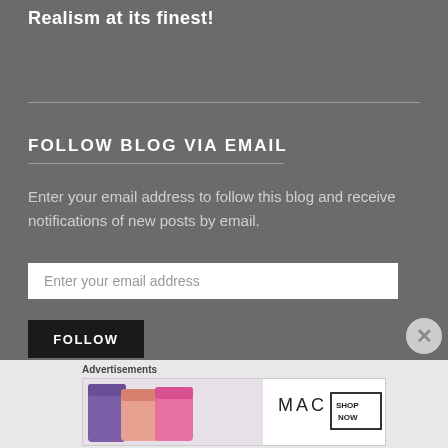Realism at its finest!
FOLLOW BLOG VIA EMAIL
Enter your email address to follow this blog and receive notifications of new posts by email.
Enter your email address
FOLLOW
Advertisements
[Figure (photo): MAC cosmetics advertisement showing colorful lipsticks with MAC logo and SHOP NOW button]